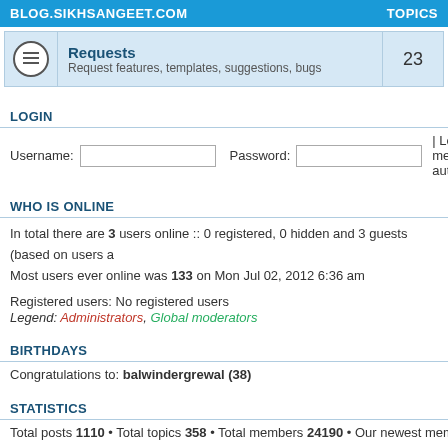BLOG.SIKHSANGEET.COM    TOPICS
Requests
Request features, templates, suggestions, bugs    23
LOGIN
Username:  [input]  Password:  [input]  | Log me on autom
WHO IS ONLINE
In total there are 3 users online :: 0 registered, 0 hidden and 3 guests (based on users a
Most users ever online was 133 on Mon Jul 02, 2012 6:36 am
Registered users: No registered users
Legend: Administrators, Global moderators
BIRTHDAYS
Congratulations to: balwindergrewal (38)
STATISTICS
Total posts 1110 • Total topics 358 • Total members 24190 • Our newest member rkonsa
Board index    The team •
| Sikh Sangeet | Sikh Sangeet Forum | Sikh Sangeet Gallery | Sikh Sangeet Uploader | Sikh S DholCutz Bhangra Radio | Punjabi Janta Forum